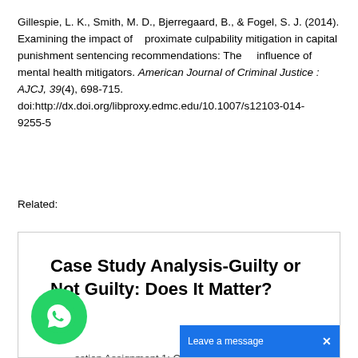Gillespie, L. K., Smith, M. D., Bjerregaard, B., & Fogel, S. J. (2014). Examining the impact of   proximate culpability mitigation in capital punishment sentencing recommendations: The    influence of mental health mitigators. American Journal of Criminal Justice : AJCJ, 39(4), 698-715. doi:http://dx.doi.org/libproxy.edmc.edu/10.1007/s12103-014-      9255-5
Related:
[Figure (screenshot): A card preview with bold title 'Case Study Analysis-Guilty or Not Guilty: Does It Matter?' and partial body text about a Question Assignment 1 case study, with a WhatsApp chat button and a 'Leave a message' bar.]